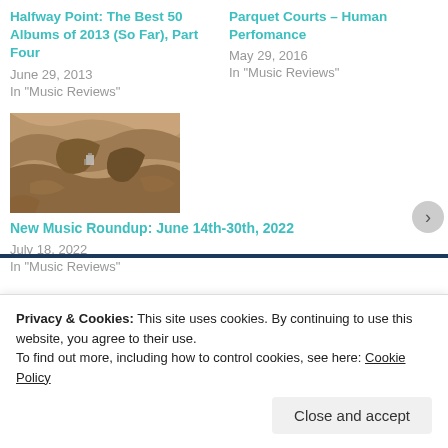Halfway Point: The Best 50 Albums of 2013 (So Far), Part Four
June 29, 2013
In "Music Reviews"
Parquet Courts – Human Perfomance
May 29, 2016
In "Music Reviews"
[Figure (photo): Aerial or landscape photo with rocky/earthy terrain in brown and tan tones, appears to be an album cover]
New Music Roundup: June 14th-30th, 2022
July 18, 2022
In "Music Reviews"
Privacy & Cookies: This site uses cookies. By continuing to use this website, you agree to their use.
To find out more, including how to control cookies, see here: Cookie Policy
Close and accept